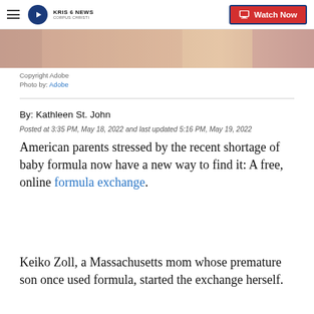KRIS 6 NEWS CORPUS CHRISTI | Watch Now
[Figure (photo): Partial image of baby/infant, cropped at top of page]
Copyright Adobe
Photo by: Adobe
By: Kathleen St. John
Posted at 3:35 PM, May 18, 2022 and last updated 5:16 PM, May 19, 2022
American parents stressed by the recent shortage of baby formula now have a new way to find it: A free, online formula exchange.
Keiko Zoll, a Massachusetts mom whose premature son once used formula, started the exchange herself.